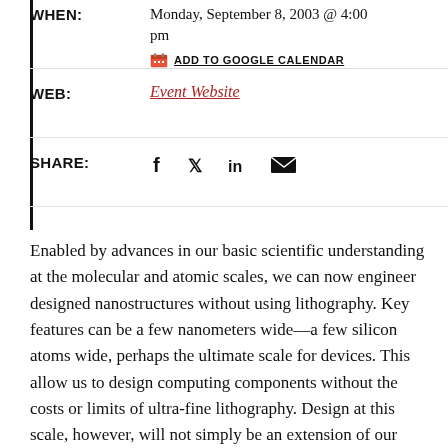WHEN: Monday, September 8, 2003 @ 4:00 pm
ADD TO GOOGLE CALENDAR
WEB: Event Website
SHARE: [social icons: facebook, twitter, linkedin, email]
Enabled by advances in our basic scientific understanding at the molecular and atomic scales, we can now engineer designed nanostructures without using lithography. Key features can be a few nanometers wide—a few silicon atoms wide, perhaps the ultimate scale for devices. This allow us to design computing components without the costs or limits of ultra-fine lithography. Design at this scale, however, will not simply be an extension of our familiar VLSI design. We may not be able to directly pattern complex features, but rather must exploit basic